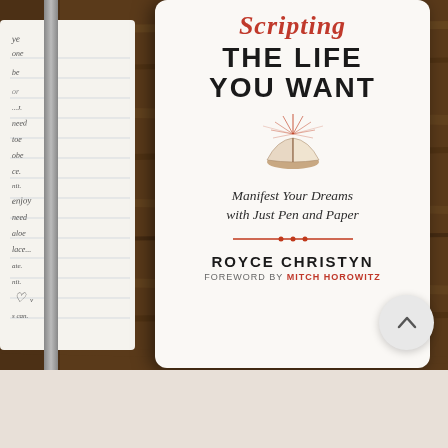[Figure (photo): Book cover of 'Scripting the Life You Want' by Royce Christyn, foreword by Mitch Horowitz. Cover shows a notebook with handwritten text on wooden background. The book subtitle reads 'Manifest Your Dreams with Just Pen and Paper'. There is also a Ko-fi Support me button overlay and partial text 'THE IDEAL' at bottom.]
Scripting THE LIFE YOU WANT
Manifest Your Dreams with Just Pen and Paper
ROYCE CHRISTYN
FOREWORD BY MITCH HOROWITZ
Support me
THE IDEAL